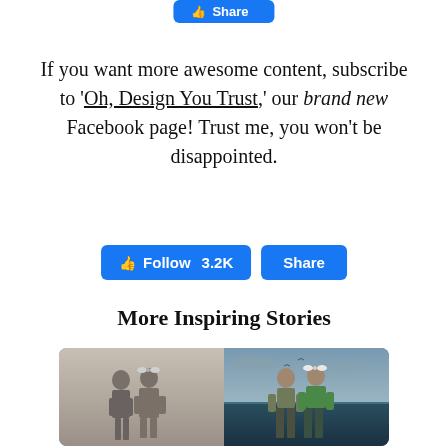[Figure (screenshot): Blue Facebook share button at the top of the page, partially cropped]
If you want more awesome content, subscribe to 'Oh, Design You Trust,' our brand new Facebook page! Trust me, you won't be disappointed.
[Figure (screenshot): Two blue Facebook buttons: 'Follow 3.2K' and 'Share']
More Inspiring Stories
[Figure (photo): Side-by-side composite image: left half is a black-and-white vintage photo of two children (a boy and a girl with a bow) standing in a studio; right half is a colorized/surreal version of the same children standing in water with a dramatic sky background]